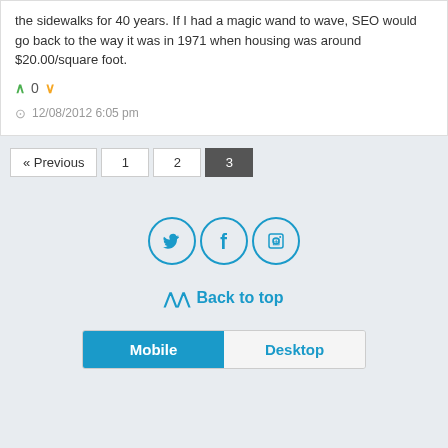the sidewalks for 40 years. If I had a magic wand to wave, SEO would go back to the way it was in 1971 when housing was around $20.00/square foot.
∧ 0 ∨
12/08/2012 6:05 pm
« Previous  1  2  3
[Figure (other): Social media icons: Twitter, Facebook, RSS feed — circular blue outlined buttons]
∧∧ Back to top
Mobile  Desktop